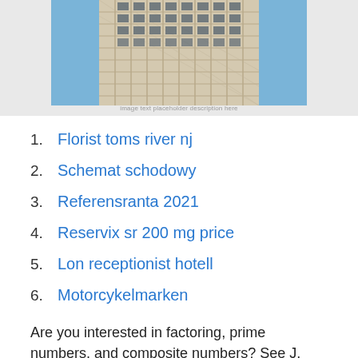[Figure (photo): Photograph of a modernist skyscraper with a geometric concrete facade, shot from below against a blue sky. The building features a diamond/triangular grid pattern on its exterior.]
1. Florist toms river nj
2. Schemat schodowy
3. Referensranta 2021
4. Reservix sr 200 mg price
5. Lon receptionist hotell
6. Motorcykelmarken
Are you interested in factoring, prime numbers, and composite numbers? See J. Bloomington 2019 – Cite...